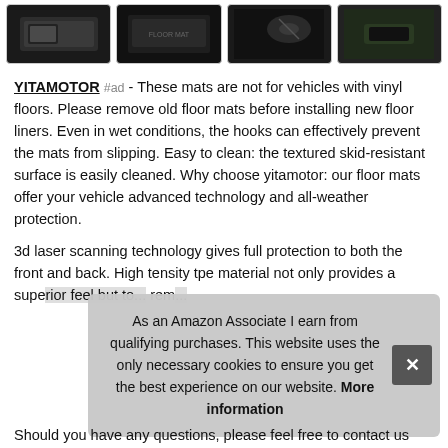[Figure (photo): Row of four product thumbnail images showing floor mats/liners in vehicles, dark backgrounds]
YITAMOTOR #ad - These mats are not for vehicles with vinyl floors. Please remove old floor mats before installing new floor liners. Even in wet conditions, the hooks can effectively prevent the mats from slipping. Easy to clean: the textured skid-resistant surface is easily cleaned. Why choose yitamotor: our floor mats offer your vehicle advanced technology and all-weather protection.
3d laser scanning technology gives full protection to both the front and back. High tensity tpe material not only provides a superior feel but to... rem...
As an Amazon Associate I earn from qualifying purchases. This website uses the only necessary cookies to ensure you get the best experience on our website. More information
Should you have any questions, please feel free to contact us